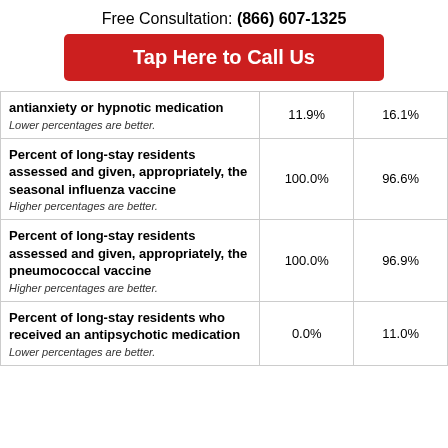Free Consultation: (866) 607-1325
Tap Here to Call Us
|  |  |  |
| --- | --- | --- |
| antianxiety or hypnotic medication
Lower percentages are better. | 11.9% | 16.1% |
| Percent of long-stay residents assessed and given, appropriately, the seasonal influenza vaccine
Higher percentages are better. | 100.0% | 96.6% |
| Percent of long-stay residents assessed and given, appropriately, the pneumococcal vaccine
Higher percentages are better. | 100.0% | 96.9% |
| Percent of long-stay residents who received an antipsychotic medication
Lower percentages are better. | 0.0% | 11.0% |